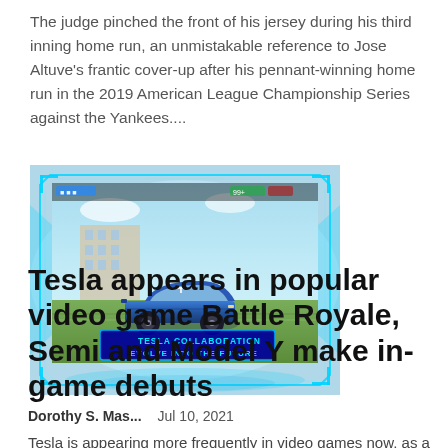The judge pinched the front of his jersey during his third inning home run, an unmistakable reference to Jose Altuve's frantic cover-up after his pennant-winning home run in the 2019 American League Championship Series against the Yankees....
[Figure (screenshot): Screenshot of a video game (Battle Royale) showing a blue Tesla car in a game environment with text overlay reading 'TESLA COLLABORATION EVOLVE INTO THE FUTURE']
Tesla appears in popular video game Battle Royale, Semi and Model Y make in-game debuts
Dorothy S. Mas...   Jul 10, 2021
Tesla is appearing more frequently in video games now, as a new